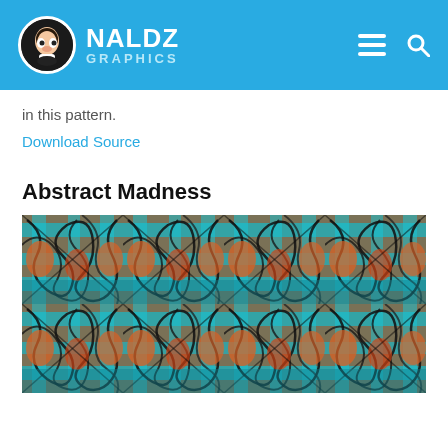NALDZ GRAPHICS
in this pattern.
Download Source
Abstract Madness
[Figure (illustration): Abstract Madness repeating pattern with orange, teal/cyan, and black overlapping shapes and forms tiled across the image area.]